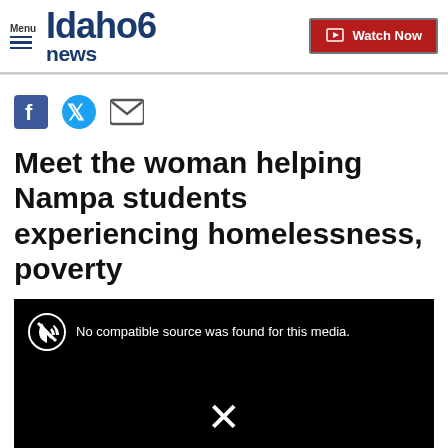Menu | Idaho News 6 | Watch Now
[Figure (other): Social share icons: Facebook, Twitter, Email]
Meet the woman helping Nampa students experiencing homelessness, poverty
[Figure (screenshot): Video player showing black screen with muted speaker icon and text 'No compatible source was found for this media.' and an X close button.]